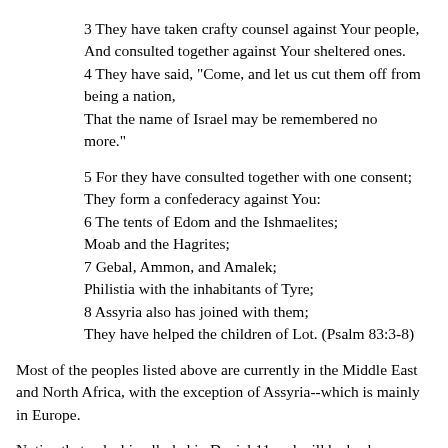3 They have taken crafty counsel against Your people, And consulted together against Your sheltered ones. 4 They have said, "Come, and let us cut them off from being a nation, That the name of Israel may be remembered no more."

5 For they have consulted together with one consent; They form a confederacy against You: 6 The tents of Edom and the Ishmaelites; Moab and the Hagrites; 7 Gebal, Ammon, and Amalek; Philistia with the inhabitants of Tyre; 8 Assyria also has joined with them; They have helped the children of Lot. (Psalm 83:3-8)
Most of the peoples listed above are currently in the Middle East and North Africa, with the exception of Assyria--which is mainly in Europe.
Notice that a deal in alluded in Daniel 11 and will be broken:
15 ... the king of the North ... 25 ... the king of the South ... 27 Both these kings' hearts shall be bent on evil, and they shall speak lies at the same table; but it shall not prosper, for the end will still be at the